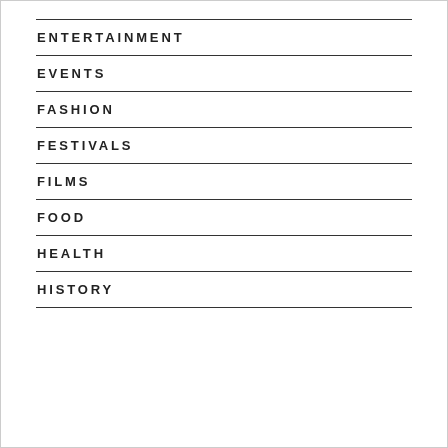ENTERTAINMENT
EVENTS
FASHION
FESTIVALS
FILMS
FOOD
HEALTH
HISTORY